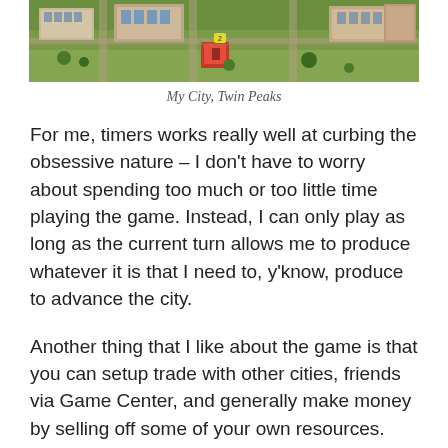[Figure (screenshot): Aerial/isometric view of a city-building game showing buildings, roads, and green areas — labeled as 'My City, Twin Peaks']
My City, Twin Peaks
For me, timers works really well at curbing the obsessive nature – I don't have to worry about spending too much or too little time playing the game. Instead, I can only play as long as the current turn allows me to produce whatever it is that I need to, y'know, produce to advance the city.
Another thing that I like about the game is that you can setup trade with other cities, friends via Game Center, and generally make money by selling off some of your own resources. Generally speaking, I think the trading system is underrated. It's a pretty good way to make money and to get the resources needed to continue expanding your city.
Anyway, the game's a lot of fun. If you're playing